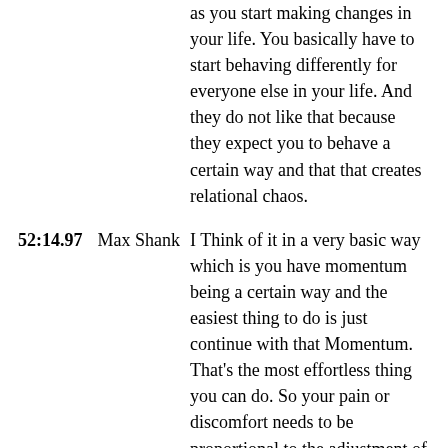as you start making changes in your life. You basically have to start behaving differently for everyone else in your life. And they do not like that because they expect you to behave a certain way and that that creates relational chaos.
52:14.97  Max Shank  I Think of it in a very basic way which is you have momentum being a certain way and the easiest thing to do is just continue with that Momentum. That's the most effortless thing you can do. So your pain or discomfort needs to be proportional to the adjustment of your trajectory like you need to be dissatisfied or uncomfortable enough to overcome the momentum of living a certain way. And it's not until that happens that a person takes action. Otherwise why would they? it's pure law of least Action. We're going to do the minimum we can unless ah otherwise authorized from a higher order kind of function. And even that is going to be based on a ah big picture discomfort um with just letting things flow as they may. It's like ah I'm uncomfortable not doing this thing. It's it's too painful to not. Go to Mars anymore. It's too painful to not get a divorce anymore. It's too painful to not start a business anymore. Whatever it is. There's like it's different